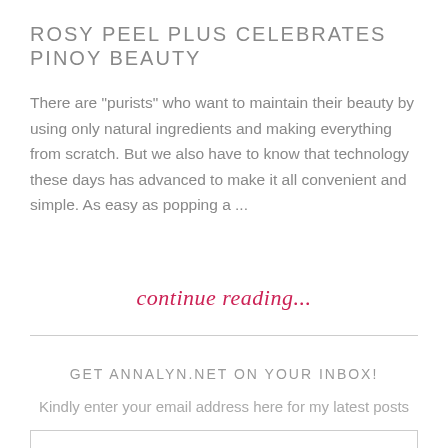ROSY PEEL PLUS CELEBRATES PINOY BEAUTY
There are "purists" who want to maintain their beauty by using only natural ingredients and making everything from scratch. But we also have to know that technology these days has advanced to make it all convenient and simple. As easy as popping a ...
continue reading...
GET ANNALYN.NET ON YOUR INBOX!
Kindly enter your email address here for my latest posts